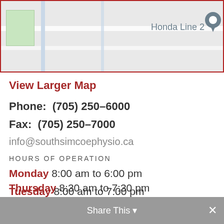[Figure (map): Google Maps screenshot showing location of Honda Line 2 with a map pin]
View Larger Map
Phone:  (705) 250-6000
Fax:  (705) 250-7000
info@southsimcoephysio.ca
HOURS OF OPERATION
Monday 8:00 am to 6:00 pm
Tuesday 8:00 am to 7:00 pm
Wednesday 8:30 am to 7:30 pm
Thursday 8:30 am to 7:30 pm
Share This